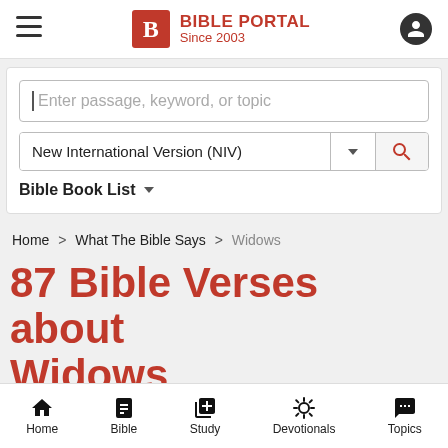BIBLE PORTAL Since 2003
[Figure (screenshot): Search bar with placeholder text 'Enter passage, keyword, or topic']
New International Version (NIV)
Bible Book List
Home > What The Bible Says > Widows
87 Bible Verses about Widows
Home  Bible  Study  Devotionals  Topics